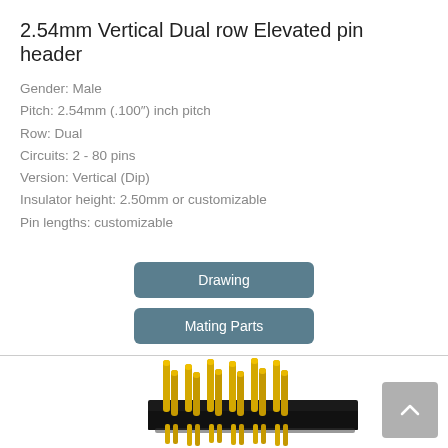2.54mm Vertical Dual row Elevated pin header
Gender: Male
Pitch: 2.54mm (.100″) inch pitch
Row: Dual
Circuits: 2 - 80 pins
Version: Vertical (Dip)
Insulator height: 2.50mm or customizable
Pin lengths: customizable
Drawing
Mating Parts
[Figure (photo): 3D render of a 2.54mm vertical dual row elevated pin header connector with black plastic housing and gold-colored pins arranged in two rows]